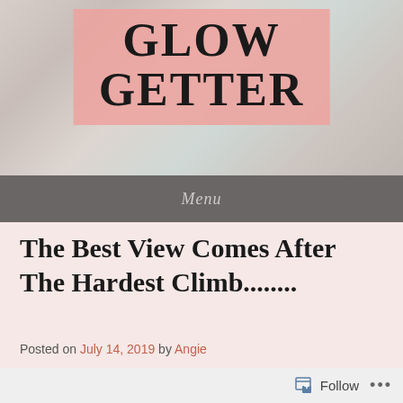[Figure (logo): Blog logo with pink background reading GLOW GETTER in bold serif uppercase letters]
Menu
The Best View Comes After The Hardest Climb........
Posted on July 14, 2019 by Angie
Follow ...